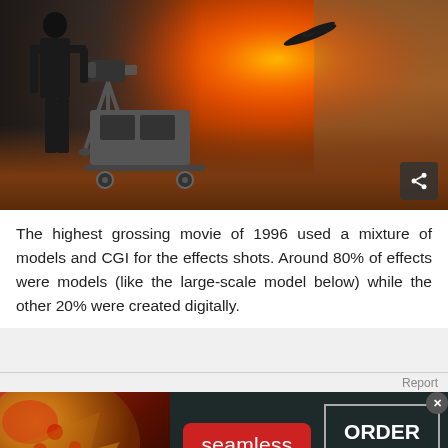[Figure (photo): Behind-the-scenes movie set photo showing a large explosion with orange fireball in a canyon-like set, camera crew on the left, film equipment visible, traffic cone in foreground right]
The highest grossing movie of 1996 used a mixture of models and CGI for the effects shots. Around 80% of effects were models (like the large-scale model below) while the other 20% were created digitally.
[Figure (photo): Seamless food delivery advertisement showing pizza slices on the left, Seamless logo in red rounded badge in the center, and ORDER NOW button on the right against a dark background]